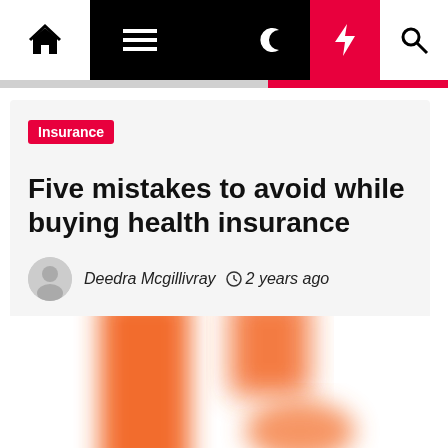Navigation bar with home, menu, moon, lightning, and search icons
Five mistakes to avoid while buying health insurance
Insurance
Deedra Mcgillivray  2 years ago
[Figure (photo): Partially visible blurred orange graphic image, cropped at bottom of page]